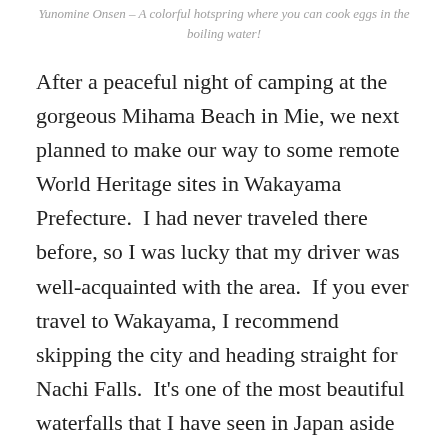Yunomine Onsen – A colorful hotspring where you can cook eggs in the boiling water!
After a peaceful night of camping at the gorgeous Mihama Beach in Mie, we next planned to make our way to some remote World Heritage sites in Wakayama Prefecture.  I had never traveled there before, so I was lucky that my driver was well-acquainted with the area.  If you ever travel to Wakayama, I recommend skipping the city and heading straight for Nachi Falls.  It's one of the most beautiful waterfalls that I have seen in Japan aside from those in Yakushima and has a bright red pagoda you can climb.  Honestly you could spend the whole day wandering through the forests here, but we decided to divide our time between shrines and